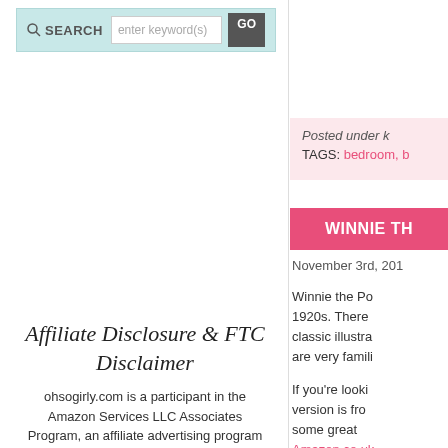[Figure (screenshot): Search bar with teal/cyan background, magnifying glass icon, text input saying 'enter keyword(s)', and a GO button]
Affiliate Disclosure & FTC Disclaimer
ohsogirly.com is a participant in the Amazon Services LLC Associates Program, an affiliate advertising program designed to provide a means for sites
Posted under k
TAGS: bedroom, b
WINNIE TH
November 3rd, 201
Winnie the Po 1920s. There classic illustra are very famili
If you're looki version is fro some great Amazon.co.uk
Here is a sele